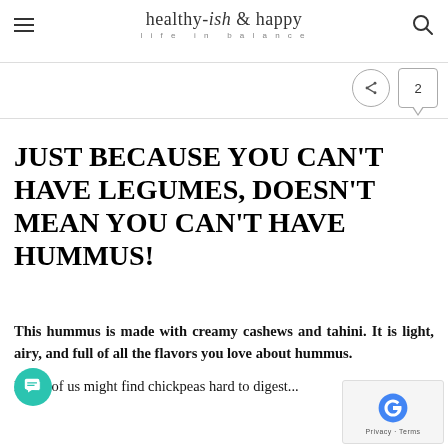healthy-ish & happy — life in balance
JUST BECAUSE YOU CAN'T HAVE LEGUMES, DOESN'T MEAN YOU CAN'T HAVE HUMMUS!
This hummus is made with creamy cashews and tahini. It is light, airy, and full of all the flavors you love about hummus.
Many of us might find chickpeas hard to digest...